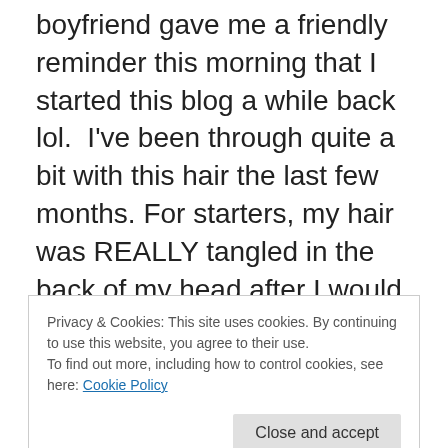boyfriend gave me a friendly reminder this morning that I started this blog a while back lol. I've been through quite a bit with this hair the last few months. For starters, my hair was REALLY tangled in the back of my head after I would wash it – probably started noticing it around 3 months post-relaxer. I 'think' that I figured out the cause of the tangled hair – it was pretty bad. I would have hands full of hair in the trash after detangling and combing the leave-in condition through from root to end. At first, I just thought it was a normal part of the transition process but later decided this can't be normal. After a few weeks (too many
Privacy & Cookies: This site uses cookies. By continuing to use this website, you agree to their use.
To find out more, including how to control cookies, see here: Cookie Policy
for the hair being so tangled after washing it was that it